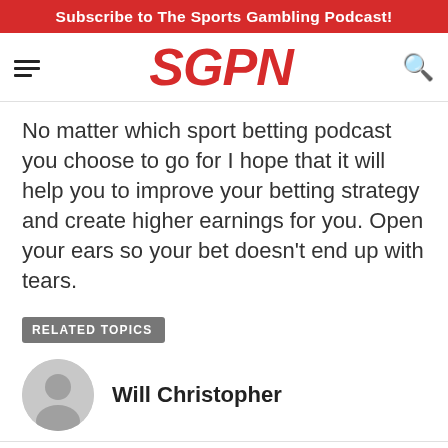Subscribe to The Sports Gambling Podcast!
[Figure (logo): SGPN logo in red italic bold text with hamburger menu icon on left and search icon on right]
No matter which sport betting podcast you choose to go for I hope that it will help you to improve your betting strategy and create higher earnings for you. Open your ears so your bet doesn't end up with tears.
RELATED TOPICS
Will Christopher
ADVERTISEMENT